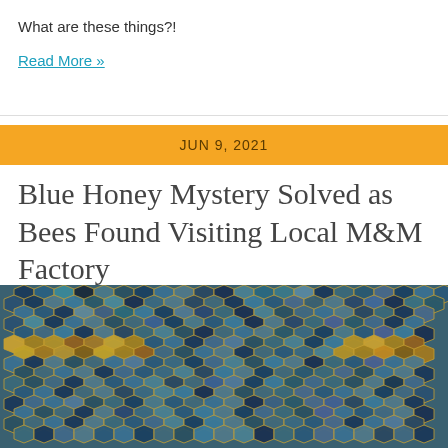What are these things?!
Read More »
JUN 9, 2021
Blue Honey Mystery Solved as Bees Found Visiting Local M&M Factory
[Figure (photo): Close-up photograph of a honeycomb with cells filled with blue-colored honey, showing hexagonal wax cells containing various shades of blue and teal liquid.]